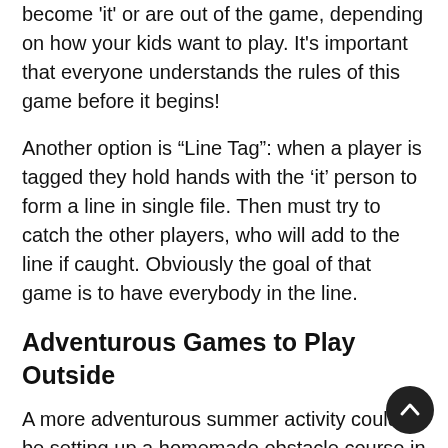become 'it' or are out of the game, depending on how your kids want to play. It's important that everyone understands the rules of this game before it begins!
Another option is “Line Tag”: when a player is tagged they hold hands with the ‘it’ person to form a line in single file. Then must try to catch the other players, who will add to the line if caught. Obviously the goal of that game is to have everybody in the line.
Adventurous Games to Play Outside
A more adventurous summer activity could be setting up a homemade obstacle course in the garden or a nearby park. Potential obstacles can include hula hoops to climb through, a row of poles or cans in